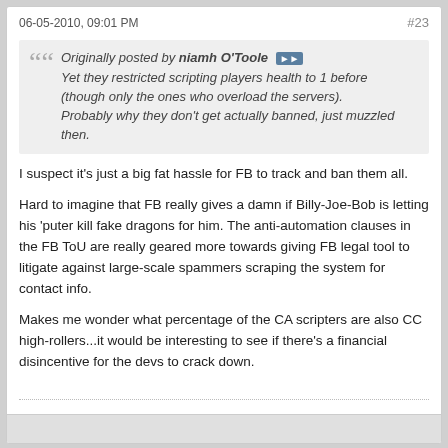06-05-2010, 09:01 PM  #23
Originally posted by niamh O'Toole
Yet they restricted scripting players health to 1 before (though only the ones who overload the servers).
Probably why they don't get actually banned, just muzzled then.
I suspect it's just a big fat hassle for FB to track and ban them all.
Hard to imagine that FB really gives a damn if Billy-Joe-Bob is letting his 'puter kill fake dragons for him. The anti-automation clauses in the FB ToU are really geared more towards giving FB legal tool to litigate against large-scale spammers scraping the system for contact info.
Makes me wonder what percentage of the CA scripters are also CC high-rollers...it would be interesting to see if there's a financial disincentive for the devs to crack down.